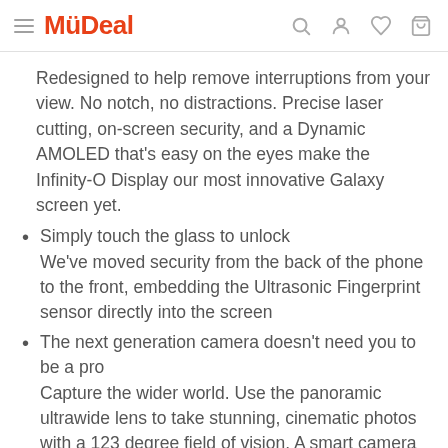MyDeal
Redesigned to help remove interruptions from your view. No notch, no distractions. Precise laser cutting, on-screen security, and a Dynamic AMOLED that's easy on the eyes make the Infinity-O Display our most innovative Galaxy screen yet.
Simply touch the glass to unlock
We've moved security from the back of the phone to the front, embedding the Ultrasonic Fingerprint sensor directly into the screen
The next generation camera doesn't need you to be a pro
Capture the wider world. Use the panoramic ultrawide lens to take stunning, cinematic photos with a 123 degree field of vision. A smart camera for your photos. The intelligent camera helps you shoot stunning photos by suggesting image compositions